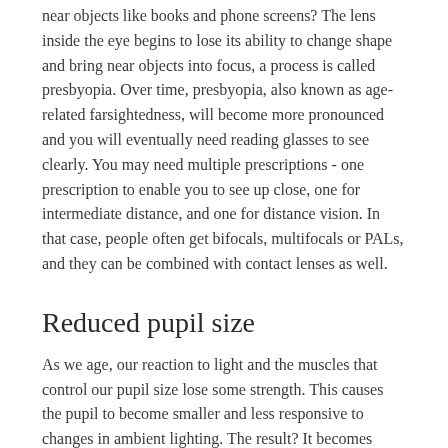near objects like books and phone screens? The lens inside the eye begins to lose its ability to change shape and bring near objects into focus, a process is called presbyopia. Over time, presbyopia, also known as age-related farsightedness, will become more pronounced and you will eventually need reading glasses to see clearly. You may need multiple prescriptions - one prescription to enable you to see up close, one for intermediate distance, and one for distance vision. In that case, people often get bifocals, multifocals or PALs, and they can be combined with contact lenses as well.
Reduced pupil size
As we age, our reaction to light and the muscles that control our pupil size lose some strength. This causes the pupil to become smaller and less responsive to changes in ambient lighting. The result? It becomes harder to clearly see objects, such as a menu, in a low-light setting like a restaurant.
Dry eye
Our tear glands produce fewer tears and the tears they produce have less moisturizing oils. Your eye doctor can determine whether your dry eye